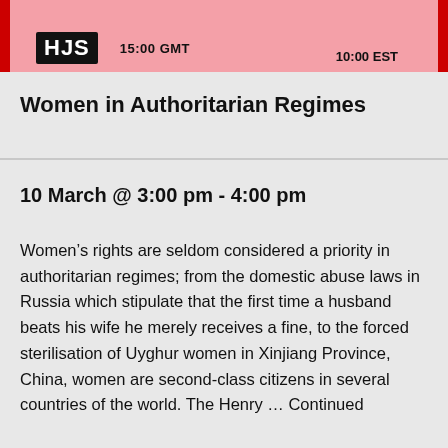HJS   15:00 GMT   10:00 EST
Women in Authoritarian Regimes
10 March @ 3:00 pm - 4:00 pm
Women’s rights are seldom considered a priority in authoritarian regimes; from the domestic abuse laws in Russia which stipulate that the first time a husband beats his wife he merely receives a fine, to the forced sterilisation of Uyghur women in Xinjiang Province, China, women are second-class citizens in several countries of the world. The Henry … Continued